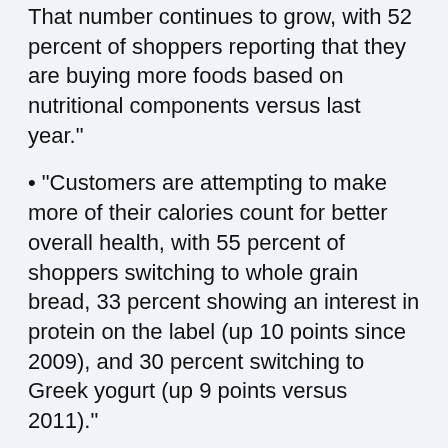That number continues to grow, with 52 percent of shoppers reporting that they are buying more foods based on nutritional components versus last year."
"Customers are attempting to make more of their calories count for better overall health, with 55 percent of shoppers switching to whole grain bread, 33 percent showing an interest in protein on the label (up 10 points since 2009), and 30 percent switching to Greek yogurt (up 9 points versus 2011)."
"The desire to eat healthier and the stagnant economy appear to be two drivers that have led consumers to do more cooking at home, with 57 percent of people reporting having tried a new healthy recipe in the last year, an increase of five points from 2009. Shoppers recognize and use a variety of reliable sources when it comes to healthy meal ideas, with shoppers finding